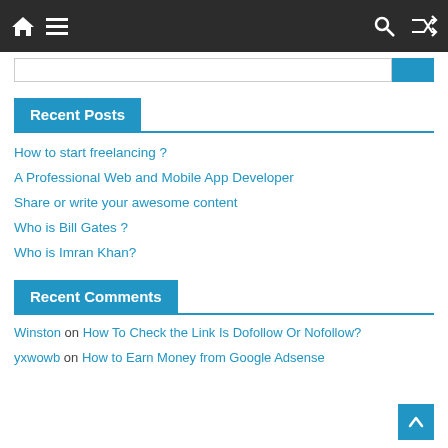Navigation bar with home, menu, search, and shuffle icons
Recent Posts
How to start freelancing ?
A Professional Web and Mobile App Developer
Share or write your awesome content
Who is Bill Gates ?
Who is Imran Khan?
Recent Comments
Winston on How To Check the Link Is Dofollow Or Nofollow?
yxwowb on How to Earn Money from Google Adsense